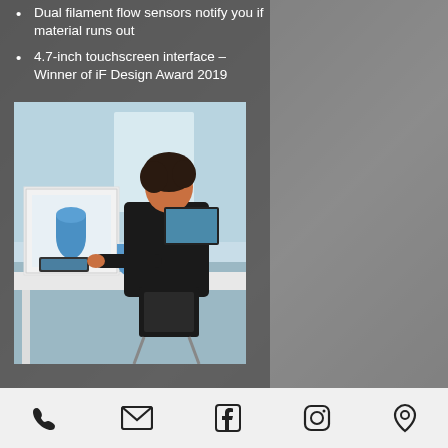Dual filament flow sensors notify you if material runs out
4.7-inch touchscreen interface – Winner of iF Design Award 2019
[Figure (photo): Woman sitting at a desk operating a Ultimaker 3D printer touchscreen interface, with blue 3D printed objects visible on the desk beside the printer, in a modern office environment.]
Phone | Email | Facebook | Instagram | Location